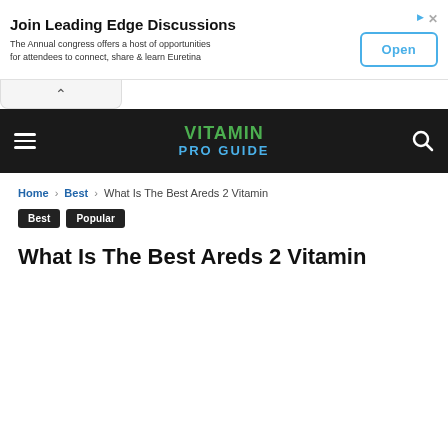[Figure (other): Advertisement banner: 'Join Leading Edge Discussions' with Open button and ad icons]
[Figure (other): Collapse/chevron bar UI element]
VITAMIN PRO GUIDE — navigation bar with hamburger menu and search icon
Home › Best › What Is The Best Areds 2 Vitamin
Best
Popular
What Is The Best Areds 2 Vitamin